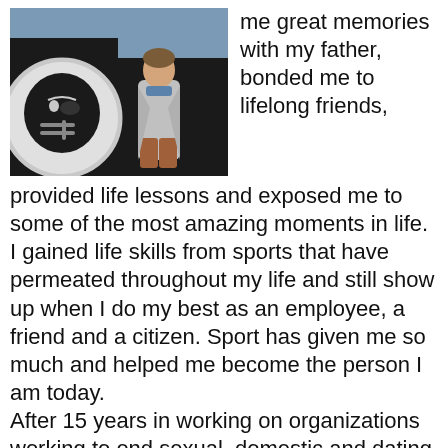[Figure (photo): Man in a grey blazer and rust-colored pants standing in front of a vehicle with a large Raiders helmet logo on its side.]
me great memories with my father, bonded me to lifelong friends, provided life lessons and exposed me to some of the most amazing moments in life. I gained life skills from sports that have permeated throughout my life and still show up when I do my best as an employee, a friend and a citizen. Sport has given me so much and helped me become the person I am today.
After 15 years in working on organizations working to end sexual, domestic and dating violence, I have recently joined the staff of Raliance, a national collaborative committed to ending sexual violence in one generation.
Based in the Washington DC office, I am the